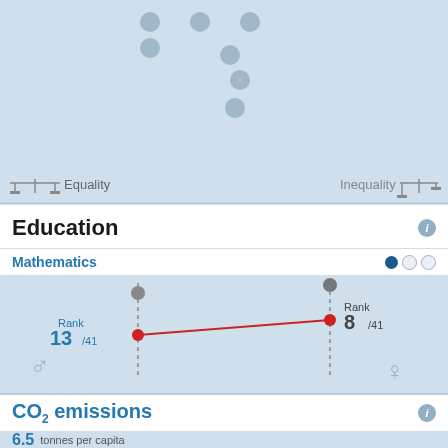[Figure (other): Top section with grey dots pattern on light blue background, with Equality and Inequality labels at bottom]
Equality / Inequality
Education
Mathematics
[Figure (other): Chart showing Mathematics gender ranking. Boys rank 13/41, Girls rank 8/41, connected by a red diagonal line on light blue background. Male symbol bottom left, female symbol bottom right.]
CO2 emissions
6.5 tonnes per capita
[Figure (other): Bottom section showing CO2 emissions visualization with grey bubble shapes and a red bubble]